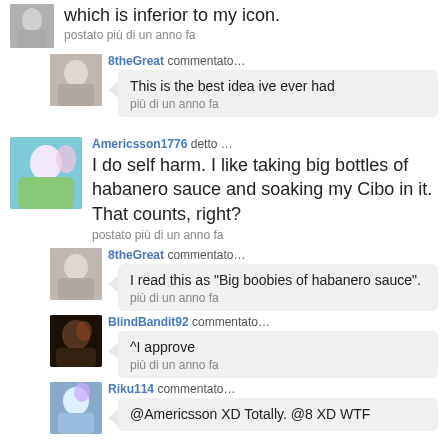which is inferior to my icon.
postato più di un anno fa
8theGreat commentato…
This is the best idea ive ever had
più di un anno fa
Americsson1776 detto …
I do self harm. I like taking big bottles of habanero sauce and soaking my Cibo in it. That counts, right?
postato più di un anno fa
8theGreat commentato…
I read this as "Big boobies of habanero sauce".
più di un anno fa
BlindBandit92 commentato…
^I approve
più di un anno fa
Riku114 commentato…
@Americsson XD Totally. @8 XD WTF